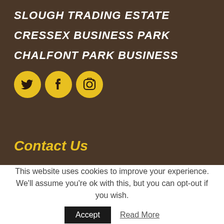SLOUGH TRADING ESTATE
CRESSEX BUSINESS PARK
CHALFONT PARK BUSINESS
[Figure (illustration): Three yellow circular social media icons: Twitter bird icon, Facebook 'f' icon, Instagram camera icon]
Contact Us
This website uses cookies to improve your experience. We'll assume you're ok with this, but you can opt-out if you wish.
Accept   Read More